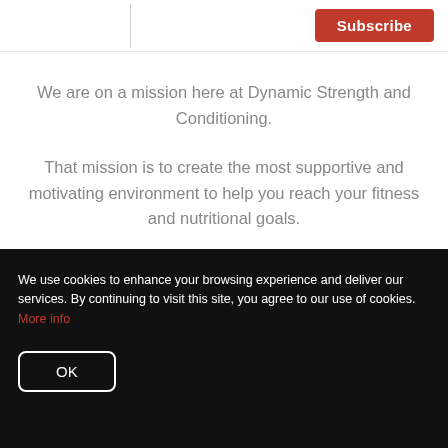Subscribe
We are on a mission here at Dynamic Strength and Conditioning.
That mission is to create the most supportive and motivating environment to help you reach your fitness and nutritional goals.
We understand you want to feel better.
We use cookies to enhance your browsing experience and deliver our services. By continuing to visit this site, you agree to our use of cookies. More info
OK